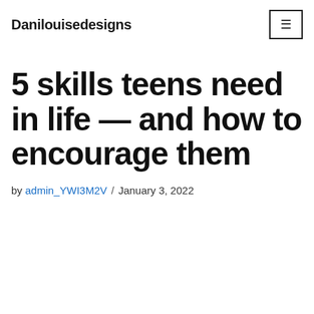Danilouisedesigns
5 skills teens need in life — and how to encourage them
by admin_YWI3M2V / January 3, 2022